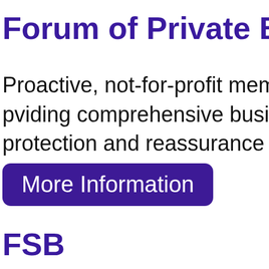Forum of Private Busin
Proactive, not-for-profit members
pviding comprehensive business
protection and reassurance to sm
More Information
FSB